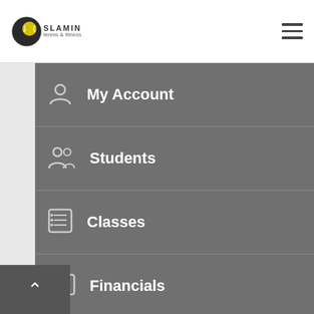[Figure (logo): Slamin Tennis & Fitness logo with circular badge and text]
My Account
Students
Classes
Financials
Bookings
Notifications
Contact Us
Logout